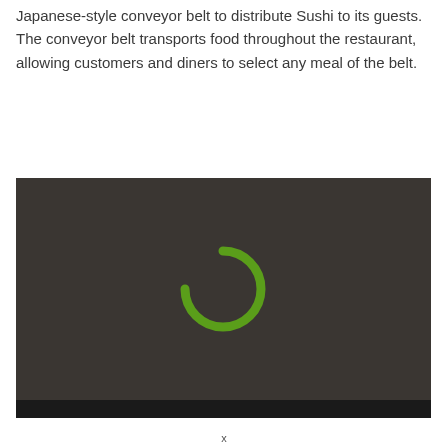Japanese-style conveyor belt to distribute Sushi to its guests. The conveyor belt transports food throughout the restaurant, allowing customers and diners to select any meal of the belt.
[Figure (screenshot): Dark video player area with a dark brownish-gray background showing a green loading spinner (partial arc) in the center, and a black bar at the bottom.]
x